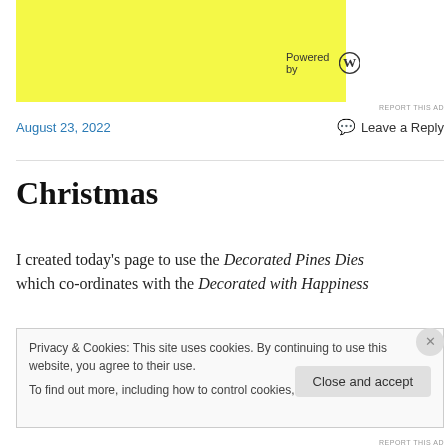[Figure (other): Yellow advertisement banner with 'Powered by WordPress' logo]
REPORT THIS AD
August 23, 2022
Leave a Reply
Christmas
I created today's page to use the Decorated Pines Dies which co-ordinates with the Decorated with Happiness
Privacy & Cookies: This site uses cookies. By continuing to use this website, you agree to their use.
To find out more, including how to control cookies, see here: Cookie Policy
Close and accept
REPORT THIS AD